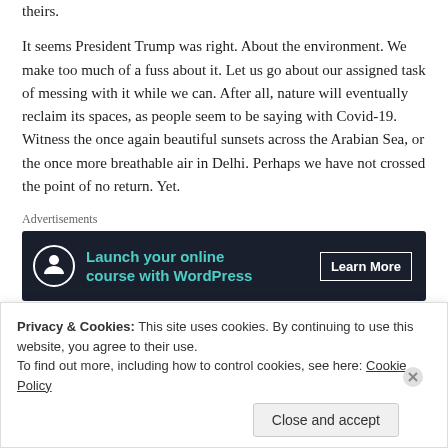He will serve directly, honest, hard-working people, for no personal fault of theirs.
It seems President Trump was right. About the environment. We make too much of a fuss about it. Let us go about our assigned task of messing with it while we can. After all, nature will eventually reclaim its spaces, as people seem to be saying with Covid-19. Witness the once again beautiful sunsets across the Arabian Sea, or the once more breathable air in Delhi. Perhaps we have not crossed the point of no return. Yet.
[Figure (other): Advertisement banner: dark navy background with circular icon (tree/person silhouette), teal text 'Launch your online course with WordPress', white 'Learn More' button with underline.]
It seems we had forgotten what it meant to go viral the old fashioned way...
Privacy & Cookies: This site uses cookies. By continuing to use this website, you agree to their use. To find out more, including how to control cookies, see here: Cookie Policy